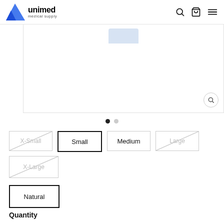unimed medical supply
[Figure (photo): Product image carousel with thumbnail strip on left and main product image on right, with a magnify/zoom button in the bottom-right corner]
[Figure (other): Carousel navigation dots: one filled black dot and one gray dot]
X-Small  Small  Medium  Large
X-Large
Natural
Quantity